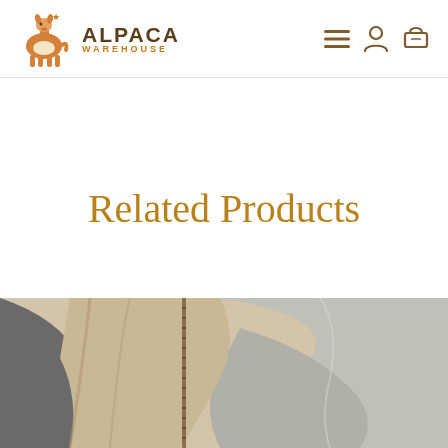Alpaca Warehouse
Related Products
[Figure (photo): Folded or piled alpaca fleece garments in beige, dark grey, and light grey colors, showing zipper detail]